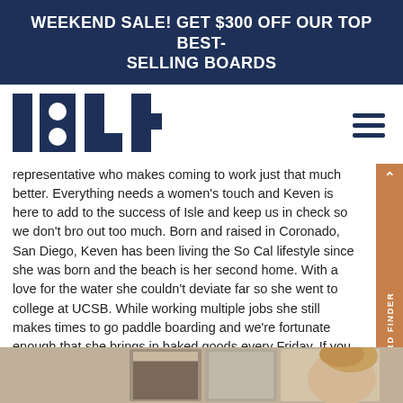WEEKEND SALE! GET $300 OFF OUR TOP BEST-SELLING BOARDS
[Figure (logo): ISLE surf brand logo in dark navy blue block letters]
representative who makes coming to work just that much better. Everything needs a women's touch and Keven is here to add to the success of Isle and keep us in check so we don't bro out too much. Born and raised in Coronado, San Diego, Keven has been living the So Cal lifestyle since she was born and the beach is her second home. With a love for the water she couldn't deviate far so she went to college at UCSB. While working multiple jobs she still makes times to go paddle boarding and we're fortunate enough that she brings in baked goods every Friday. If you ever have any questions for Keven just email her at shipping@islesurfandsup.com
[Figure (photo): Partial photo strip at bottom showing framed photos and a person with blonde hair]